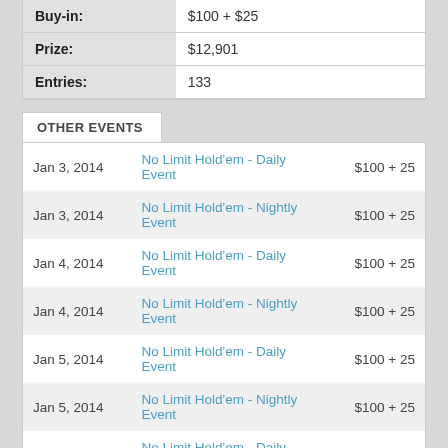| Buy-in: | Prize: | Entries: |
| --- | --- | --- |
| $100 + $25 |
| $12,901 |
| 133 |
OTHER EVENTS
| Date | Event | Buy-in |
| --- | --- | --- |
| Jan 3, 2014 | No Limit Hold'em - Daily Event | $100 + 25 |
| Jan 3, 2014 | No Limit Hold'em - Nightly Event | $100 + 25 |
| Jan 4, 2014 | No Limit Hold'em - Daily Event | $100 + 25 |
| Jan 4, 2014 | No Limit Hold'em - Nightly Event | $100 + 25 |
| Jan 5, 2014 | No Limit Hold'em - Daily Event | $100 + 25 |
| Jan 5, 2014 | No Limit Hold'em - Nightly Event | $100 + 25 |
| Jan 6, 2014 | No Limit Hold'em - Daily Event | $100 + 25 |
| Jan 6, 2014 | No Limit Hold'em - Nightly Event | $100 + 25 |
EVENT RESULTS